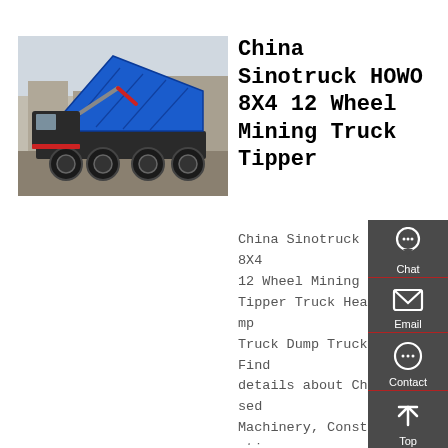[Figure (photo): Blue dump truck / tipper truck with its bed raised, parked outdoors. The truck is a heavy-duty mining tipper with blue body and black chassis.]
China Sinotruck HOWO 8X4 12 Wheel Mining Truck Tipper
China Sinotruck HOWO 8X4 12 Wheel Mining Truck Tipper Truck Heavy Dump Truck Dump Trucks, Find details about China Used Machinery, Construction Machinery from Sinotruck HOWO 8X4 12 Wheel Mining Truck Tipper Truck Heavy Dump Truck Dump Trucks -